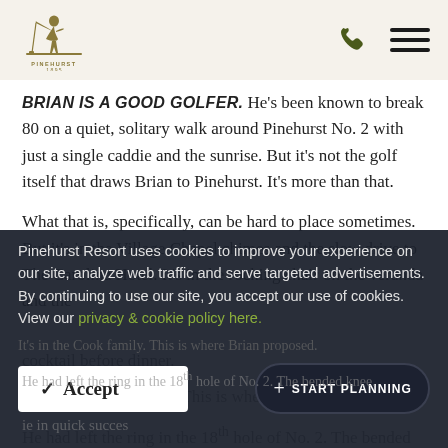Pinehurst 1895 logo with phone and menu icons
BRIAN IS A GOOD GOLFER. He's been known to break 80 on a quiet, solitary walk around Pinehurst No. 2 with just a single caddie and the sunrise. But it's not the golf itself that draws Brian to Pinehurst. It's more than that.
What that is, specifically, can be hard to place sometimes. But it's in the Village Chapel chimes and the slow drive to The Carolina Hotel. It's in the rocking chair on the veranda and the cocktail before dinner.
It's in the Cook family. This is where Brian proposed.
He had left the ring in the 18th hole of No. 2. The bended knee. The in quick success
Pinehurst Resort uses cookies to improve your experience on our site, analyze web traffic and serve targeted advertisements. By continuing to use our site, you accept our use of cookies. View our privacy & cookie policy here.